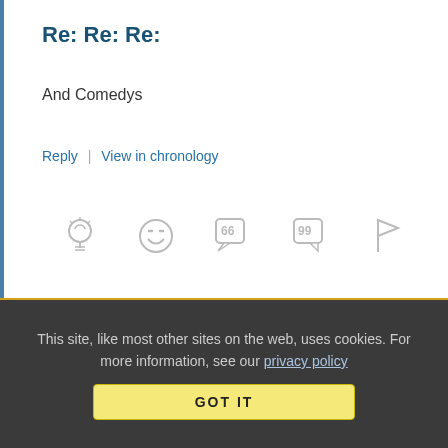Re: Re: Re:
And Comedys
Reply | View in chronology
[Figure (infographic): Five icon buttons: lightbulb (insightful), laughing emoji (funny), speech bubble with 66 (quote), speech bubble with 99 (reply-quote), flag (report)]
Anonymous Coward   April 15, 2015 at 1:37 pm
Precedent
This site, like most other sites on the web, uses cookies. For more information, see our privacy policy
GOT IT